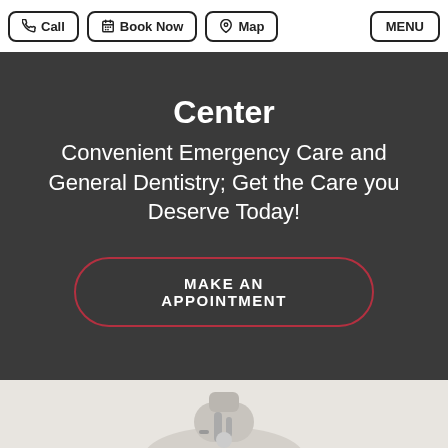Call | Book Now | Map | MENU
Center
Convenient Emergency Care and General Dentistry; Get the Care you Deserve Today!
MAKE AN APPOINTMENT
[Figure (photo): Dental equipment/chair visible at bottom of page on light gray textured background]